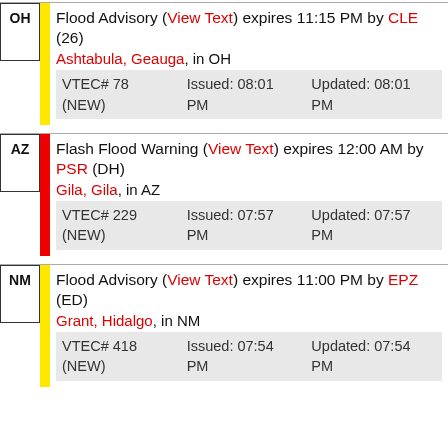| State | Alert | VTEC# | Issued | Updated |
| --- | --- | --- | --- | --- |
| OH | Flood Advisory (View Text) expires 11:15 PM by CLE (26) — Ashtabula, Geauga, in OH | VTEC# 78 (NEW) | Issued: 08:01 PM | Updated: 08:01 PM |
| AZ | Flash Flood Warning (View Text) expires 12:00 AM by PSR (DH) — Gila, Gila, in AZ | VTEC# 229 (NEW) | Issued: 07:57 PM | Updated: 07:57 PM |
| NM | Flood Advisory (View Text) expires 11:00 PM by EPZ (ED) — Grant, Hidalgo, in NM | VTEC# 418 (NEW) | Issued: 07:54 PM | Updated: 07:54 PM |